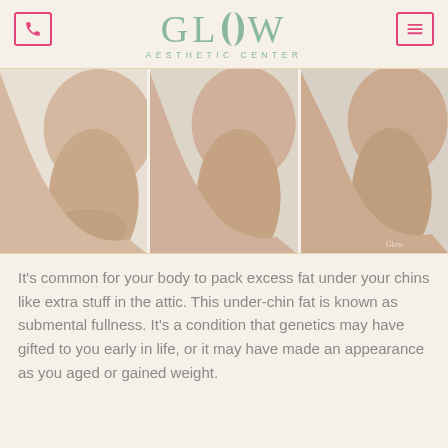GLOW AESTHETIC CENTER
[Figure (photo): Three side-profile views of a person's chin and neck area, showing before/during/after states of submental fat reduction treatment, displayed side by side in a horizontal strip.]
It's common for your body to pack excess fat under your chins like extra stuff in the attic. This under-chin fat is known as submental fullness. It's a condition that genetics may have gifted to you early in life, or it may have made an appearance as you aged or gained weight.